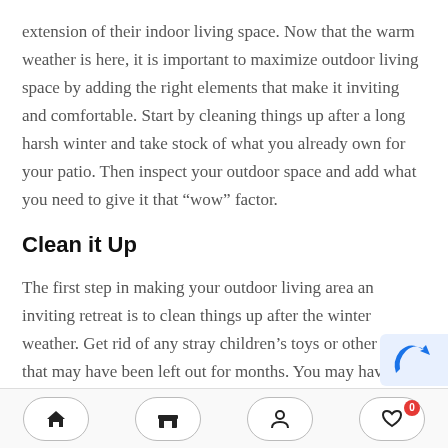extension of their indoor living space. Now that the warm weather is here, it is important to maximize outdoor living space by adding the right elements that make it inviting and comfortable. Start by cleaning things up after a long harsh winter and take stock of what you already own for your patio. Then inspect your outdoor space and add what you need to give it that “wow” factor.
Clean it Up
The first step in making your outdoor living area an inviting retreat is to clean things up after the winter weather. Get rid of any stray children’s toys or other debris that may have been left out for months. You may have to power wash your pati…